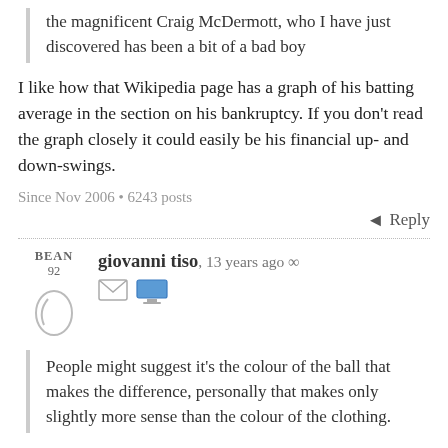the magnificent Craig McDermott, who I have just discovered has been a bit of a bad boy
I like how that Wikipedia page has a graph of his batting average in the section on his bankruptcy. If you don't read the graph closely it could easily be his financial up- and down-swings.
Since Nov 2006 • 6243 posts
Reply
BEAN 92
giovanni tiso, 13 years ago ∞
People might suggest it's the colour of the ball that makes the difference, personally that makes only slightly more sense than the colour of the clothing.
Okay, this is coming from a guy whose only exposure to cricket before 1997 was via The Hitchhikers Guide to the Galaxy, but... it's not just the colour of the ball. It's also who's allowed to bowl, where they're allowed to bowl and what kind of field they can set.